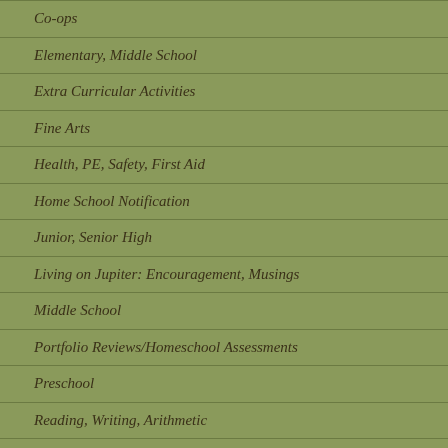Co-ops
Elementary, Middle School
Extra Curricular Activities
Fine Arts
Health, PE, Safety, First Aid
Home School Notification
Junior, Senior High
Living on Jupiter: Encouragement, Musings
Middle School
Portfolio Reviews/Homeschool Assessments
Preschool
Reading, Writing, Arithmetic
Science, Social Studies
Teacher Resources, Tips, How-To's
Testimonials